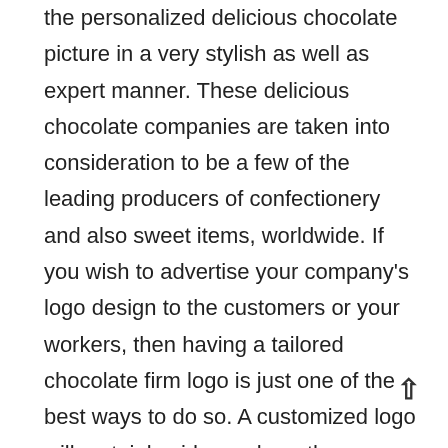the personalized delicious chocolate picture in a very stylish as well as expert manner. These delicious chocolate companies are taken into consideration to be a few of the leading producers of confectionery and also sweet items, worldwide. If you wish to advertise your company's logo design to the customers or your workers, then having a tailored chocolate firm logo is just one of the best ways to do so. A customized logo will certainly aid you share the message of your company through your custom chocolate pictures. There are several firms available in the marketplace today that provides their solutions to tailor your firm's logo design, so you need to constantly attempt to check on these companies first before selecting one for your company. This will conserve you money and time. You need to always try to choose a company that can supply you the